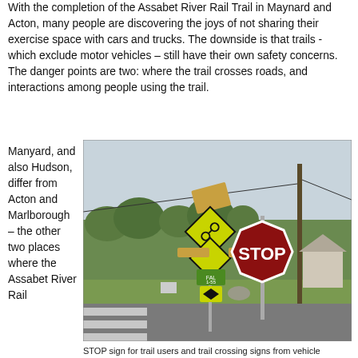With the completion of the Assabet River Rail Trail in Maynard and Acton, many people are discovering the joys of not sharing their exercise space with cars and trucks. The downside is that trails - which exclude motor vehicles – still have their own safety concerns. The danger points are two: where the trail crosses roads, and interactions among people using the trail.
Manyard, and also Hudson, differ from Acton and Marlborough – the other two places where the Assabet River Rail
[Figure (photo): Photo of trail crossing with STOP sign and yellow pedestrian/bicycle crossing warning signs on a pole, with a road intersection in the background.]
STOP sign for trail users and trail crossing signs from vehicle drivers